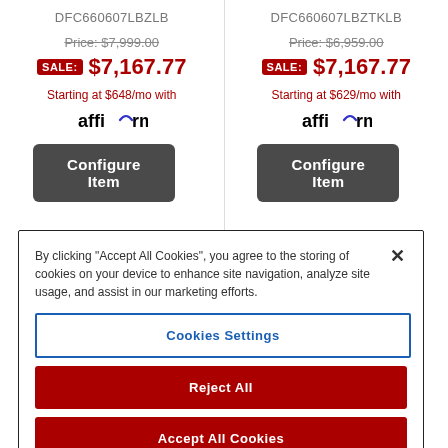DFC660607LBZLB
Price: $7,999.00 SALE: $7,167.77
Starting at $648/mo with affirm
Configure Item
DFC660607LBZTKLB
Price: $6,959.00 SALE: $7,167.77
Starting at $629/mo with affirm
Configure Item
By clicking “Accept All Cookies”, you agree to the storing of cookies on your device to enhance site navigation, analyze site usage, and assist in our marketing efforts.
Cookies Settings
Reject All
Accept All Cookies